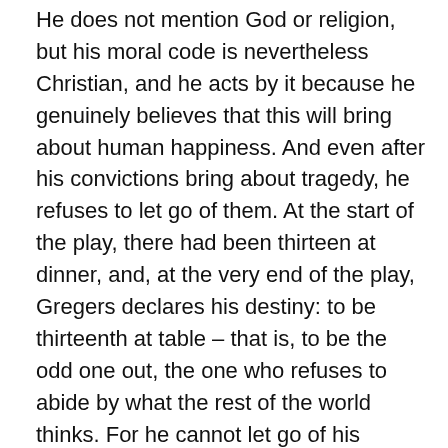He does not mention God or religion, but his moral code is nevertheless Christian, and he acts by it because he genuinely believes that this will bring about human happiness. And even after his convictions bring about tragedy, he refuses to let go of them. At the start of the play, there had been thirteen at dinner, and, at the very end of the play, Gregers declares his destiny: to be thirteenth at table – that is, to be the odd one out, the one who refuses to abide by what the rest of the world thinks. For he cannot let go of his convictions, regardless of what people think, regardless even of what happens: for to give up his convictions is to accept Dr Relling's formulation that humans need to live with lies and illusions, simply to make life bearable. But to Gregers, such a life is not a life worth living. This is why he has to adhere to his principles, no matter what: life cannot be worth living without them – there can be no reason to exist.